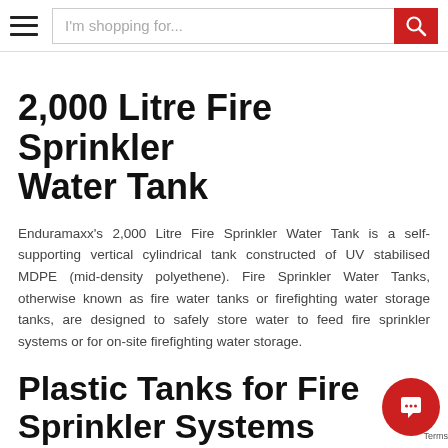I'm shopping for...
2,000 Litre Fire Sprinkler Water Tank
Enduramaxx's 2,000 Litre Fire Sprinkler Water Tank is a self-supporting vertical cylindrical tank constructed of UV stabilised MDPE (mid-density polyethene). Fire Sprinkler Water Tanks, otherwise known as fire water tanks or firefighting water storage tanks, are designed to safely store water to feed fire sprinkler systems or for on-site firefighting water storage.
Plastic Tanks for Fire Sprinkler Systems